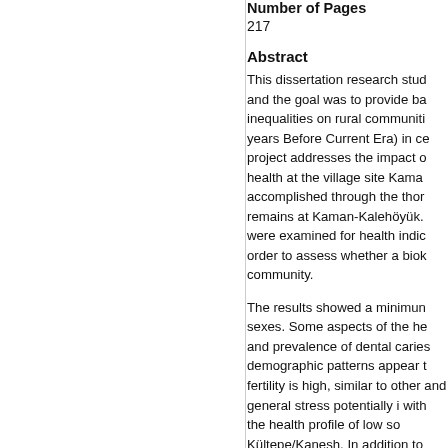Number of Pages
217
Abstract
This dissertation research stud and the goal was to provide ba inequalities on rural communiti years Before Current Era) in ce project addresses the impact o health at the village site Kama accomplished through the thor remains at Kaman-Kalehöyük. were examined for health indic order to assess whether a biok community.
The results showed a minimun sexes. Some aspects of the he and prevalence of dental caries demographic patterns appear t fertility is high, similar to other and general stress potentially i with the health profile of low so Kültepe/Kanesh. In addition to perimortem (unhealed) trauma marks made by some sort of w